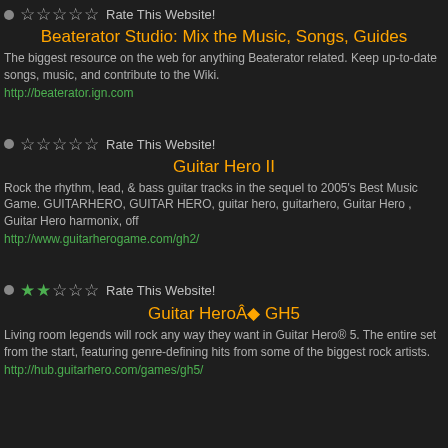Beaterator Studio: Mix the Music, Songs, Guides
The biggest resource on the web for anything Beaterator related. Keep up-to-date songs, music, and contribute to the Wiki.
http://beaterator.ign.com
Guitar Hero II
Rock the rhythm, lead, & bass guitar tracks in the sequel to 2005's Best Music Game. GUITARHERO, GUITAR HERO, guitar hero, guitarhero, Guitar Hero , Guitar Hero harmonix, off
http://www.guitarherogame.com/gh2/
Guitar HeroÂ® GH5
Living room legends will rock any way they want in Guitar Hero® 5. The entire set from the start, featuring genre-defining hits from some of the biggest rock artists.
http://hub.guitarhero.com/games/gh5/